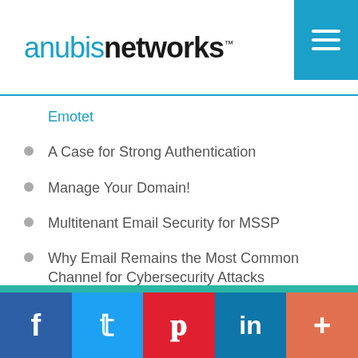anubisnetworks
Emotet
A Case for Strong Authentication
Manage Your Domain!
Multitenant Email Security for MSSP
Why Email Remains the Most Common Channel for Cybersecurity Attacks
Subscribe to Email Updates